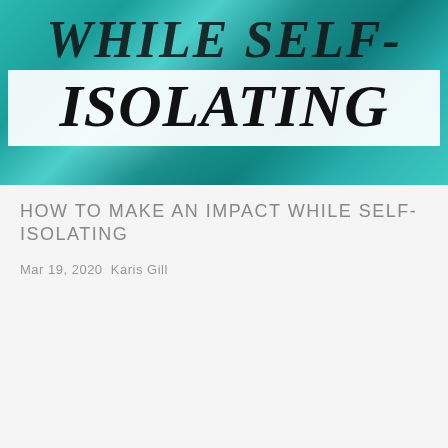[Figure (photo): Teal/turquoise abstract fluid art background with large italic text 'WHILE SELF- ISOLATING' overlaid on white box]
HOW TO MAKE AN IMPACT WHILE SELF-ISOLATING
Mar 19, 2020 Karis Gill
[Figure (screenshot): Colorful image (yellow, blue, red, pink) with a green rounded pill/button overlay showing hamburger menu icon and 'MENU' text, and 'SUSTAINABLE MOTHER'S' text at bottom]